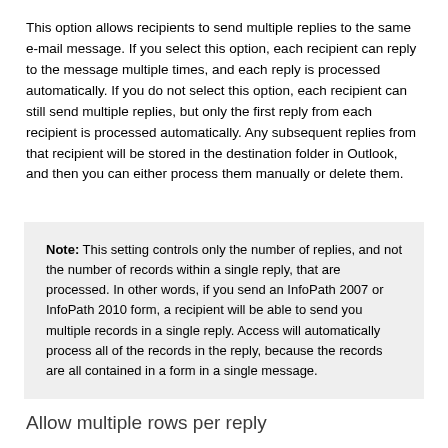This option allows recipients to send multiple replies to the same e-mail message. If you select this option, each recipient can reply to the message multiple times, and each reply is processed automatically. If you do not select this option, each recipient can still send multiple replies, but only the first reply from each recipient is processed automatically. Any subsequent replies from that recipient will be stored in the destination folder in Outlook, and then you can either process them manually or delete them.
Note: This setting controls only the number of replies, and not the number of records within a single reply, that are processed. In other words, if you send an InfoPath 2007 or InfoPath 2010 form, a recipient will be able to send you multiple records in a single reply. Access will automatically process all of the records in the reply, because the records are all contained in a form in a single message.
Allow multiple rows per reply